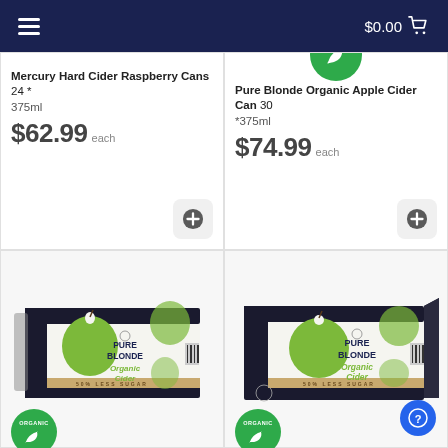$0.00
Mercury Hard Cider Raspberry Cans 24 * 375ml
$62.99 each
Pure Blonde Organic Apple Cider Can 30 *375ml
$74.99 each
[Figure (photo): Pure Blonde Organic Cider box, white packaging with green apple graphics, bottom-left product image]
[Figure (photo): Pure Blonde Organic Cider box, white packaging with green apple graphics, bottom-right product image]